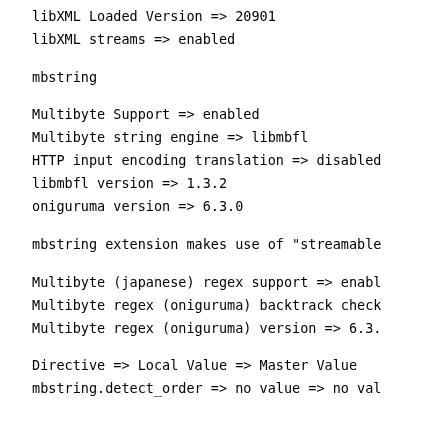libXML Loaded Version => 20901
libXML streams => enabled
mbstring
Multibyte Support => enabled
Multibyte string engine => libmbfl
HTTP input encoding translation => disabled
libmbfl version => 1.3.2
oniguruma version => 6.3.0
mbstring extension makes use of "streamable
Multibyte (japanese) regex support => enabl
Multibyte regex (oniguruma) backtrack check
Multibyte regex (oniguruma) version => 6.3.
Directive => Local Value => Master Value
mbstring.detect_order => no value => no val